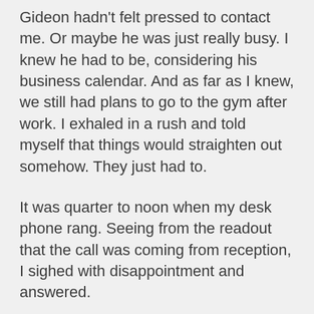Gideon hadn't felt pressed to contact me. Or maybe he was just really busy. I knew he had to be, considering his business calendar. And as far as I knew, we still had plans to go to the gym after work. I exhaled in a rush and told myself that things would straighten out somehow. They just had to.
It was quarter to noon when my desk phone rang. Seeing from the readout that the call was coming from reception, I sighed with disappointment and answered.
"Hey, Eva," Megumi said cheerily. "You have a Magdalene Perez here to see you."
"Do I?" I stared at my monitor, confused and